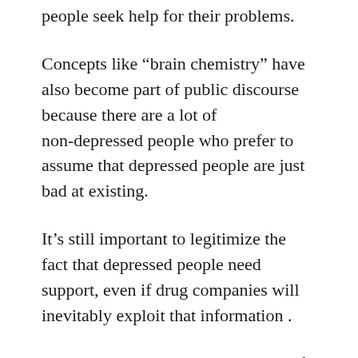people seek help for their problems.
Concepts like “brain chemistry” have also become part of public discourse because there are a lot of non-depressed people who prefer to assume that depressed people are just bad at existing.
It’s still important to legitimize the fact that depressed people need support, even if drug companies will inevitably exploit that information .
The point here is that there are lots of internet folx (who, it turns out, also exist in the non-internet world) who don’t believe in using